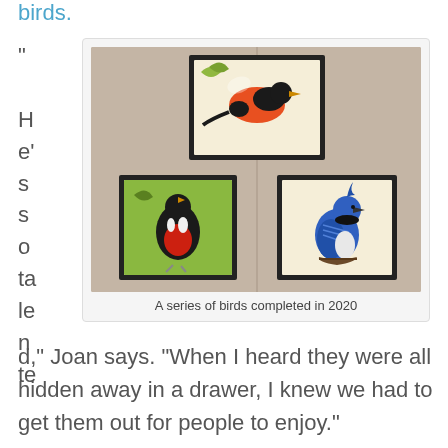birds.
“
H
e’
s
s
o
ta
le
n
te
[Figure (photo): Three framed bird paintings hung on a beige wall: one larger frame at top center showing a red and black bird, one frame at bottom left showing a black and red bird on green background, one frame at bottom right showing a blue jay on a branch.]
A series of birds completed in 2020
d,” Joan says. “When I heard they were all hidden away in a drawer, I knew we had to get them out for people to enjoy.”